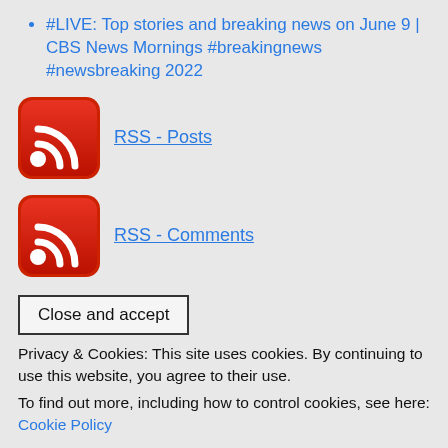#LIVE: Top stories and breaking news on June 9 | CBS News Mornings #breakingnews #newsbreaking 2022
[Figure (logo): RSS feed icon (red rounded square with white RSS symbol) with label 'RSS - Posts']
[Figure (logo): RSS feed icon (red rounded square with white RSS symbol) with label 'RSS - Comments']
Close and accept
Privacy & Cookies: This site uses cookies. By continuing to use this website, you agree to their use.
To find out more, including how to control cookies, see here: Cookie Policy
Breaking News
Breaking News, Latest News and Videos